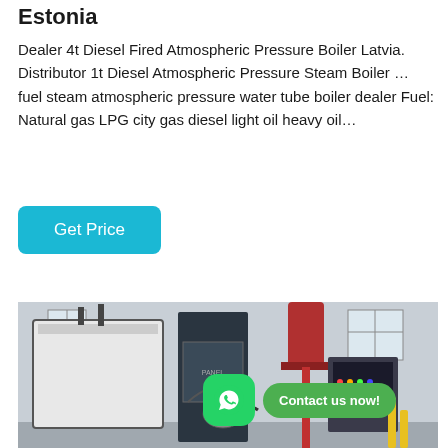Estonia
Dealer 4t Diesel Fired Atmospheric Pressure Boiler Latvia. Distributor 1t Diesel Atmospheric Pressure Steam Boiler … fuel steam atmospheric pressure water tube boiler dealer Fuel: Natural gas LPG city gas diesel light oil heavy oil…
Get Price
[Figure (photo): Industrial boiler equipment in a facility with WhatsApp contact overlay button showing 'Contact us now!']